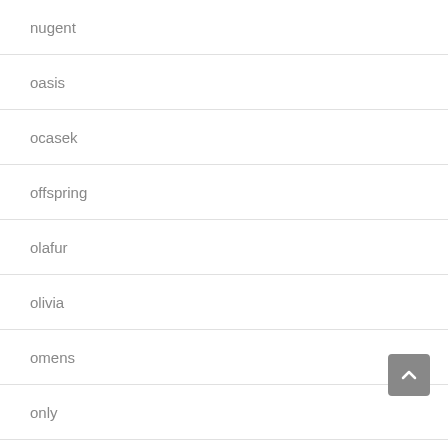nugent
oasis
ocasek
offspring
olafur
olivia
omens
only
opening
opeth
orbison
order